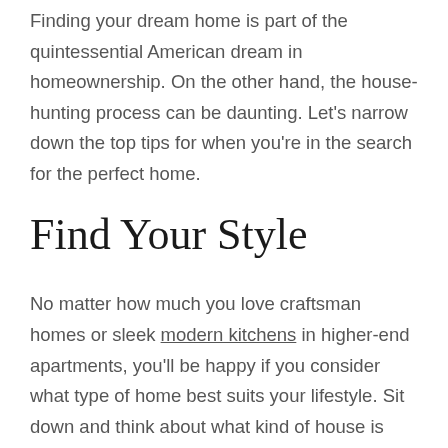Finding your dream home is part of the quintessential American dream in homeownership. On the other hand, the house-hunting process can be daunting. Let's narrow down the top tips for when you're in the search for the perfect home.
Find Your Style
No matter how much you love craftsman homes or sleek modern kitchens in higher-end apartments, you'll be happy if you consider what type of home best suits your lifestyle. Sit down and think about what kind of house is right for you before diving headfirst into everything.